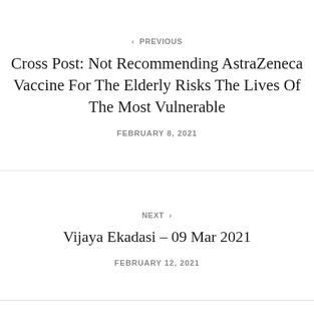‹ PREVIOUS
Cross Post: Not Recommending AstraZeneca Vaccine For The Elderly Risks The Lives Of The Most Vulnerable
FEBRUARY 8, 2021
NEXT ›
Vijaya Ekadasi – 09 Mar 2021
FEBRUARY 12, 2021